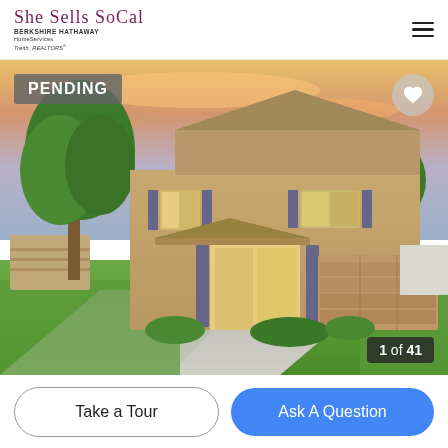She Sells SoCal - Berkshire Hathaway HomeServices Treith REALTORS
[Figure (photo): Exterior photo of a two-story tan/beige stucco house with a three-car garage, concrete driveway, green lawn, trees, and a colorful sunset sky. Badge saying PENDING in top-left. Heart icon in top-right. Counter showing 1 of 41 in bottom-right.]
Take a Tour
Ask A Question